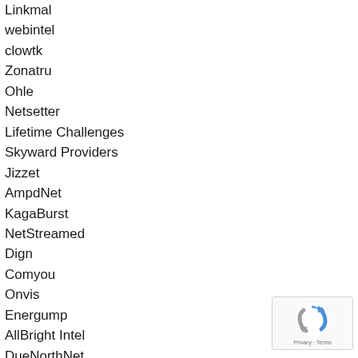Linkmal
webintel
clowtk
Zonatru
Ohle
Netsetter
Lifetime Challenges
Skyward Providers
Jizzet
AmpdNet
KagaBurst
NetStreamed
Dign
Comyou
Onvis
Energump
AllBright Intel
DueNorthNet
SuccessStream